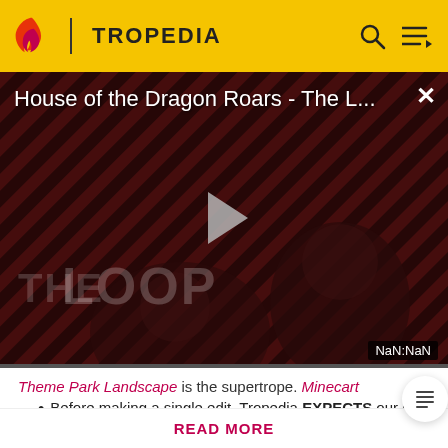TROPEDIA
[Figure (screenshot): Video player showing 'House of the Dragon Roars - The L...' with a play button in the center, diagonal red-black stripes background, 'THE LOOP' text overlay, and NaN:NaN time display]
Theme Park Landscape is the supertrope. Minecart
Before making a single edit, Tropedia EXPECTS our site policy and manual of style to be followed. Failure to do so may
READ MORE